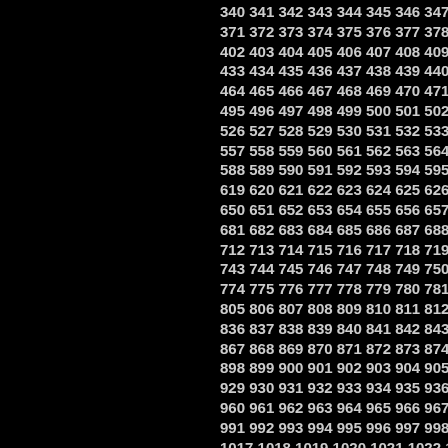340 341 342 343 344 345 346 347 348 3... 371 372 373 374 375 376 377 378 379 3... 402 403 404 405 406 407 408 409 410 4... 433 434 435 436 437 438 439 440 441 4... 464 465 466 467 468 469 470 471 472 4... 495 496 497 498 499 500 501 502 503 5... 526 527 528 529 530 531 532 533 534 5... 557 558 559 560 561 562 563 564 565 5... 588 589 590 591 592 593 594 595 596 5... 619 620 621 622 623 624 625 626 627 6... 650 651 652 653 654 655 656 657 658 6... 681 682 683 684 685 686 687 688 689 6... 712 713 714 715 716 717 718 719 720 7... 743 744 745 746 747 748 749 750 751 7... 774 775 776 777 778 779 780 781 782 7... 805 806 807 808 809 810 811 812 813 8... 836 837 838 839 840 841 842 843 844 8... 867 868 869 870 871 872 873 874 875 8... 898 899 900 901 902 903 904 905 906 9... 929 930 931 932 933 934 935 936 937 9... 960 961 962 963 964 965 966 967 968 9... 991 992 993 994 995 996 997 998 999... 1017 1018 1019 1020 1021 1022 1023... 1041 1042 1043 1044 1045 1046 1047... 1065 1066 1067 1068 1069 1070 1071... 1089 1090 1091 1092 1093 1094 1095... 1113 1114 1115 1116 1117 1118 1119... 1137 1138 1139 1140 1141 1142 1143...